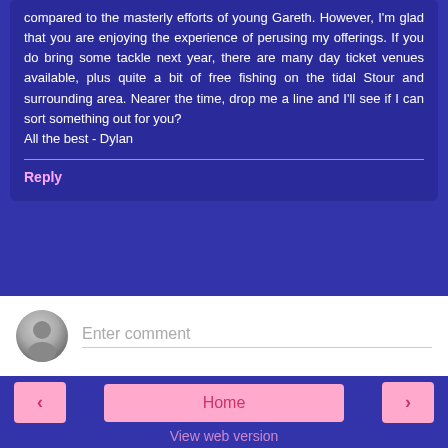compared to the masterly efforts of young Gareth. However, I'm glad that you are enjoying the experience of perusing my offerings. If you do bring some tackle next year, there are many day ticket venues available, plus quite a bit of free fishing on the tidal Stour and surrounding area. Nearer the time, drop me a line and I'll see if I can sort something out for you?
All the best - Dylan
Reply
Enter comment
Home
View web version